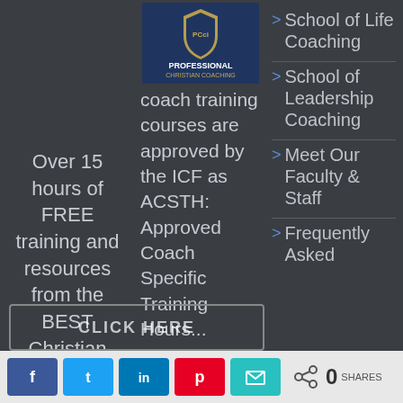[Figure (logo): Professional Christian Coaching Institute logo - shield emblem with text 'Leadership' and 'Raising the Standard' on dark blue background]
Over 15 hours of FREE training and resources from the BEST Christian coaches.
coach training courses are approved by the ICF as ACSTH: Approved Coach Specific Training Hours...
> School of Life Coaching
> School of Leadership Coaching
> Meet Our Faculty & Staff
> Frequently Asked
CLICK HERE
0 SHARES (social share buttons: Facebook, Twitter, LinkedIn, Pinterest, Email)